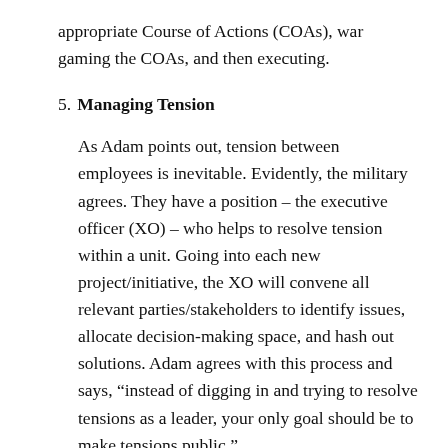appropriate Course of Actions (COAs), war gaming the COAs, and then executing.
5. Managing Tension
As Adam points out, tension between employees is inevitable. Evidently, the military agrees. They have a position – the executive officer (XO) – who helps to resolve tension within a unit. Going into each new project/initiative, the XO will convene all relevant parties/stakeholders to identify issues, allocate decision-making space, and hash out solutions. Adam agrees with this process and says, “instead of digging in and trying to resolve tensions as a leader, your only goal should be to make tensions public.”